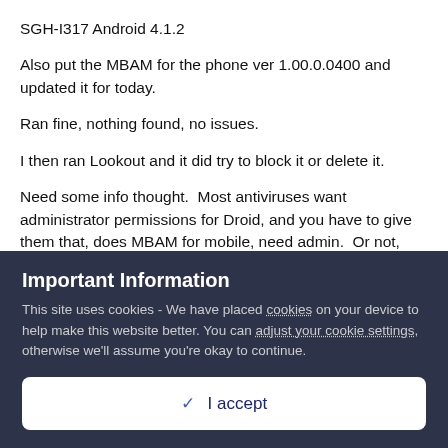SGH-I317 Android 4.1.2
Also put the MBAM for the phone ver 1.00.0.0400 and updated it for today.
Ran fine, nothing found, no issues.
I then ran Lookout and it did try to block it or delete it.
Need some info thought.  Most antiviruses want administrator permissions for Droid, and you have to give them that, does MBAM for mobile, need admin.  Or not, currently Im running it without, just to see.
Important Information
This site uses cookies - We have placed cookies on your device to help make this website better. You can adjust your cookie settings, otherwise we'll assume you're okay to continue.
I accept